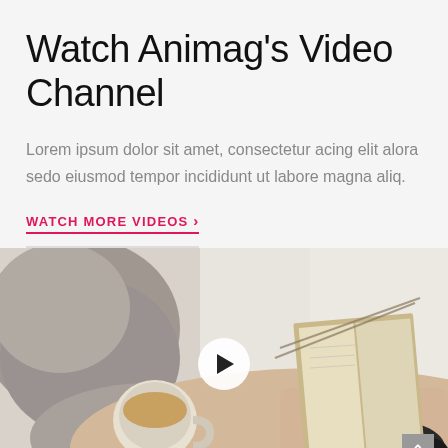Watch Animag's Video Channel
Lorem ipsum dolor sit amet, consectetur acing elit alora sedo eiusmod tempor incididunt ut labore magna aliq.
WATCH MORE VIDEOS ›
[Figure (photo): Overhead view of a person in a grey sweater lying on a bed, holding a cup of coffee and reading a book, with socked feet visible. A white circular play button overlay is centered on the image.]